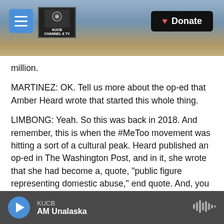[Figure (screenshot): Website header banner showing snowy mountain landscape with KUCB Channel 8 TV logo, hamburger menu button, and Donate button]
million.
MARTINEZ: OK. Tell us more about the op-ed that Amber Heard wrote that started this whole thing.
LIMBONG: Yeah. So this was back in 2018. And remember, this is when the #MeToo movement was hitting a sort of a cultural peak. Heard published an op-ed in The Washington Post, and in it, she wrote that she had become a, quote, "public figure representing domestic abuse," end quote. And, you know, she didn't name Depp, but the two had just come out of a pretty public and messy
KUCB  AM Unalaska